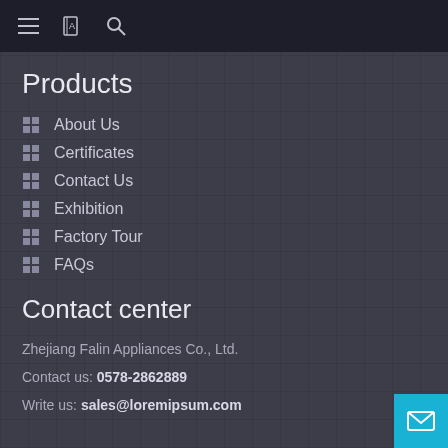Navigation bar with hamburger menu, book icon, and search icon
Products
About Us
Certificates
Contact Us
Exhibition
Factory Tour
FAQs
Contact center
Zhejiang Falin Appliances Co., Ltd.
Contact us: 0578-2862889
Write us: sales@loremipsum.com